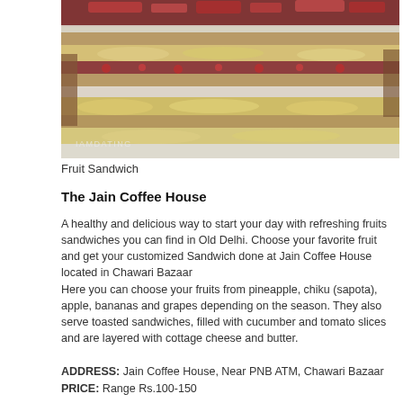[Figure (photo): A tall layered fruit sandwich with banana slices, strawberries, pomegranate seeds, cream, and bread layers, held by hands. Watermark text 'IAMDATING' visible at bottom left.]
Fruit Sandwich
The Jain Coffee House
A healthy and delicious way to start your day with refreshing fruits sandwiches you can find in Old Delhi. Choose your favorite fruit and get your customized Sandwich done at Jain Coffee House located in Chawari Bazaar
Here you can choose your fruits from pineapple, chiku (sapota), apple, bananas and grapes depending on the season. They also serve toasted sandwiches, filled with cucumber and tomato slices and are layered with cottage cheese and butter.
ADDRESS: Jain Coffee House, Near PNB ATM, Chawari Bazaar
PRICE: Range Rs.100-150